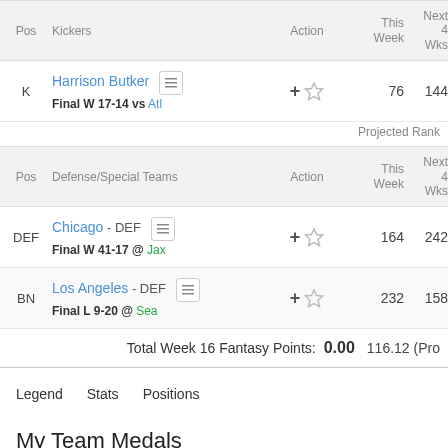| Pos | Kickers | Action | This Week | Next 4 Wks |
| --- | --- | --- | --- | --- |
| K | Harrison Butker | Final W 17-14 vs Atl | +☆ | 76 | 144 |
Projected Rank
| Pos | Defense/Special Teams | Action | This Week | Next 4 Wks |
| --- | --- | --- | --- | --- |
| DEF | Chicago - DEF | Final W 41-17 @ Jax | +☆ | 164 | 242 |
| BN | Los Angeles - DEF | Final L 9-20 @ Sea | +☆ | 232 | 158 |
Total Week 16 Fantasy Points: 0.00   116.12 (Pro
Legend   Stats   Positions
My Team Medals